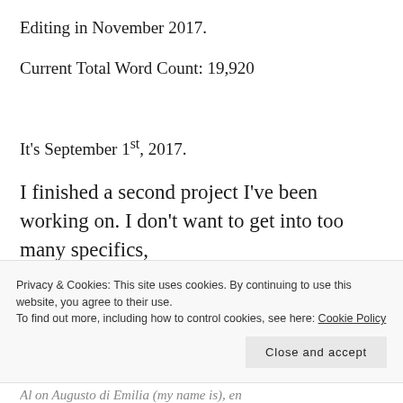Editing in November 2017.
Current Total Word Count: 19,920
It's September 1st, 2017.
I finished a second project I've been working on. I don't want to get into too many specifics,
Privacy & Cookies: This site uses cookies. By continuing to use this website, you agree to their use.
To find out more, including how to control cookies, see here: Cookie Policy
Close and accept
Al on Augusto di Emilia (my name is), en